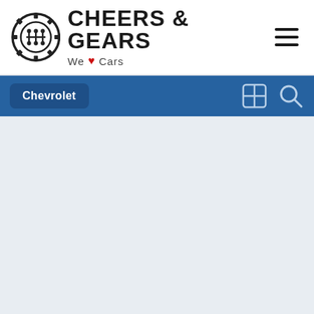Cheers & Gears — We ❤ Cars
Chevrolet